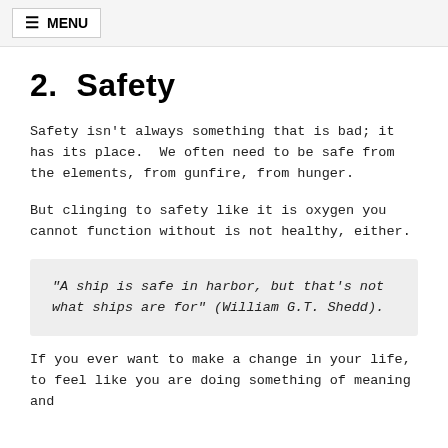≡ MENU
2.  Safety
Safety isn't always something that is bad; it has its place.  We often need to be safe from the elements, from gunfire, from hunger.
But clinging to safety like it is oxygen you cannot function without is not healthy, either.
"A ship is safe in harbor, but that's not what ships are for" (William G.T. Shedd).
If you ever want to make a change in your life, to feel like you are doing something of meaning and